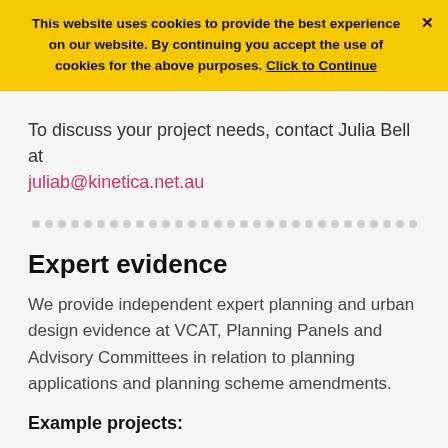This website uses cookies to provide the best experience on our website. By continuing you accept the use of cookies for the above purposes. Click to Continue ×
To discuss your project needs, contact Julia Bell at juliab@kinetica.net.au
Expert evidence
We provide independent expert planning and urban design evidence at VCAT, Planning Panels and Advisory Committees in relation to planning applications and planning scheme amendments.
Example projects: